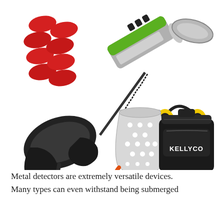[Figure (photo): Product photo showing metal detector accessories and equipment: red battery caps (8 red oval/pill shaped caps arranged in two columns), a metal detector unit with green control box and coiled cable, yellow headphones, a black search coil/scoop, a silver perforated metal detecting scoop basket with orange handle, and a black Kellyco branded carrying case/bag.]
Metal detectors are extremely versatile devices. Many types can even withstand being submerged